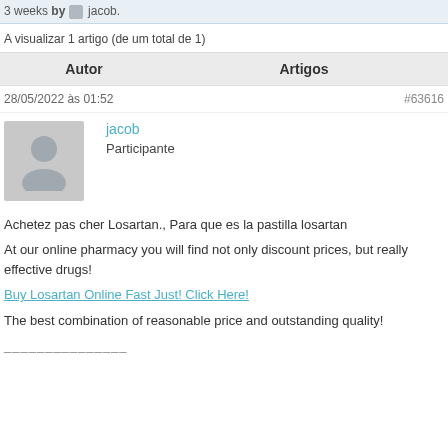3 weeks by jacob.
A visualizar 1 artigo (de um total de 1)
| Autor | Artigos |
| --- | --- |
28/05/2022 às 01:52	#63616
jacob
Participante
Achetez pas cher Losartan., Para que es la pastilla losartan

At our online pharmacy you will find not only discount prices, but really effective drugs!

Buy Losartan Online Fast Just! Click Here!

The best combination of reasonable price and outstanding quality!

_______________